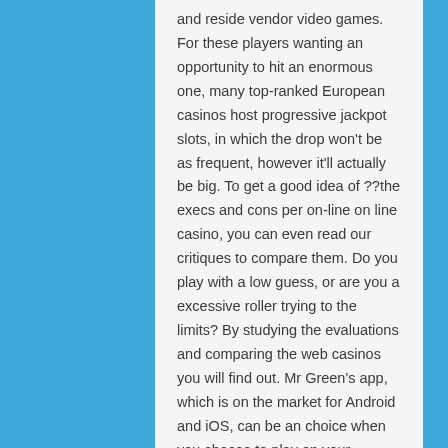and reside vendor video games. For these players wanting an opportunity to hit an enormous one, many top-ranked European casinos host progressive jackpot slots, in which the drop won't be as frequent, however it'll actually be big. To get a good idea of ??the execs and cons per on-line on line casino, you can even read our critiques to compare them. Do you play with a low guess, or are you a excessive roller trying to the limits? By studying the evaluations and comparing the web casinos you will find out. Mr Green's app, which is on the market for Android and iOS, can be an choice when you choose to play on your smartphone.
Do not think about playing as a means of